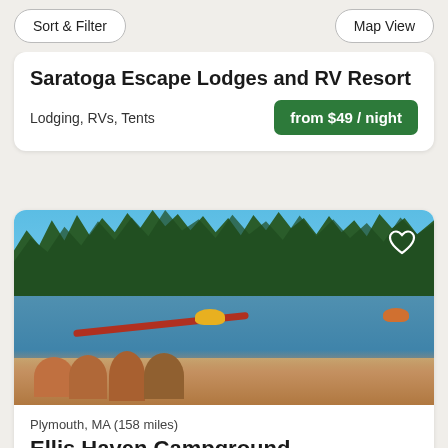Sort & Filter   Map View
Saratoga Escape Lodges and RV Resort
Lodging, RVs, Tents
from $49 / night
[Figure (photo): Waterfront campground scene with people on a sandy beach, a red dock/float in blue water, yellow and orange pedal boats, and green trees lining the far shore under a blue sky.]
Plymouth, MA (158 miles)
Ellis Haven Campground
74 reviews